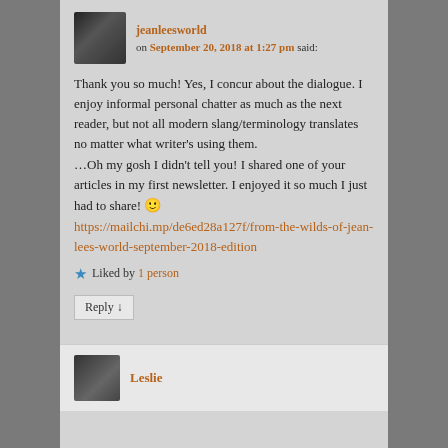jeanleesworld
on September 20, 2018 at 1:27 pm said:
Thank you so much! Yes, I concur about the dialogue. I enjoy informal personal chatter as much as the next reader, but not all modern slang/terminology translates no matter what writer's using them.
…Oh my gosh I didn't tell you! I shared one of your articles in my first newsletter. I enjoyed it so much I just had to share! 🙂
https://mailchi.mp/de6ed28a127f/from-the-wilds-of-jean-lees-world-september-2018-edition
Liked by 1 person
Reply ↓
Leslie